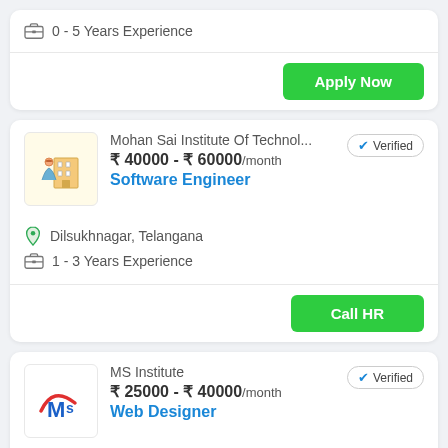0 - 5 Years Experience
Apply Now
Mohan Sai Institute Of Technol...
Verified
₹ 40000 - ₹ 60000/month
Software Engineer
Dilsukhnagar, Telangana
1 - 3 Years Experience
Call HR
MS Institute
Verified
₹ 25000 - ₹ 40000/month
Web Designer
Dilsukhnagar, Telangana